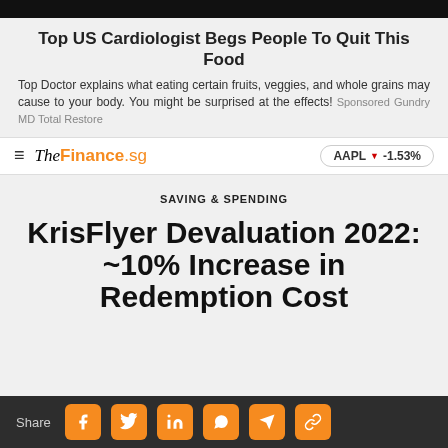[Figure (other): Black ad banner at top of page]
Top US Cardiologist Begs People To Quit This Food
Top Doctor explains what eating certain fruits, veggies, and whole grains may cause to your body. You might be surprised at the effects! Sponsored Gundry MD Total Restore
TheFinance.sg | AAPL ▼ -1.53%
SAVING & SPENDING
KrisFlyer Devaluation 2022: ~10% Increase in Redemption Cost
Share [Facebook] [Twitter] [LinkedIn] [WhatsApp] [Telegram] [Copy link]